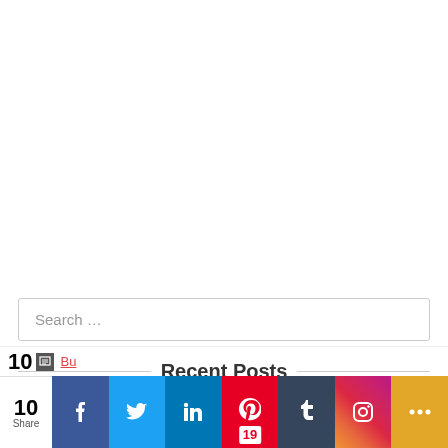Search …
Recent Posts
[Figure (screenshot): Social share bar with Facebook, Twitter, LinkedIn, Pinterest (19), Tumblr, Instagram, and more share buttons. Share count shown as 10.]